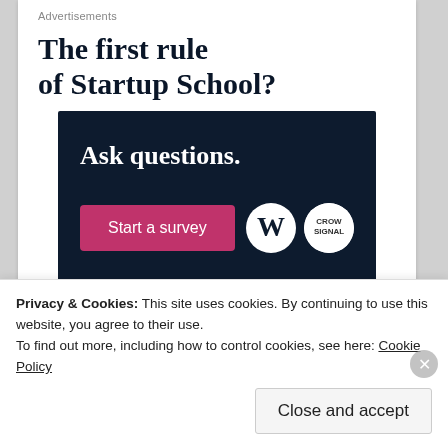Advertisements
The first rule of Startup School?
[Figure (illustration): Dark navy advertisement banner with white bold text 'Ask questions.' and a pink 'Start a survey' button, plus WordPress and another circular logo at the bottom right.]
Privacy & Cookies: This site uses cookies. By continuing to use this website, you agree to their use.
To find out more, including how to control cookies, see here: Cookie Policy